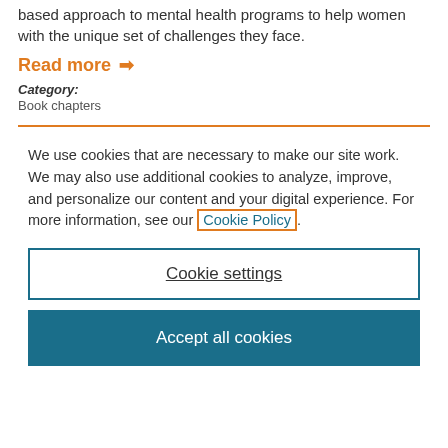based approach to mental health programs to help women with the unique set of challenges they face.
Read more →
Category:
Book chapters
We use cookies that are necessary to make our site work. We may also use additional cookies to analyze, improve, and personalize our content and your digital experience. For more information, see our Cookie Policy.
Cookie settings
Accept all cookies